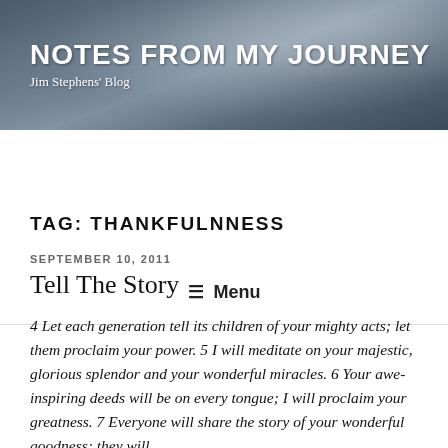NOTES FROM MY JOURNEY
Jim Stephens' Blog
≡ Menu
TAG: THANKFULNNESS
SEPTEMBER 10, 2011
Tell The Story
4 Let each generation tell its children of your mighty acts; let them proclaim your power. 5 I will meditate on your majestic, glorious splendor and your wonderful miracles. 6 Your awe-inspiring deeds will be on every tongue; I will proclaim your greatness. 7 Everyone will share the story of your wonderful goodness; they will